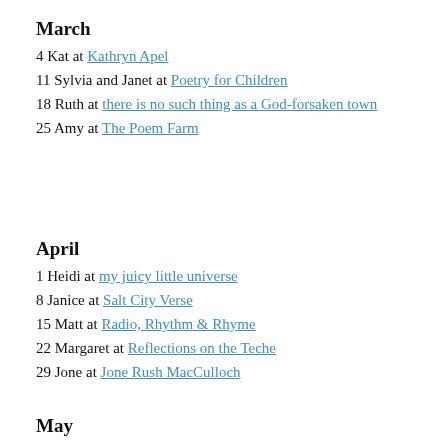March
4 Kat at Kathryn Apel
11 Sylvia and Janet at Poetry for Children
18 Ruth at there is no such thing as a God-forsaken town
25 Amy at The Poem Farm
April
1 Heidi at my juicy little universe
8 Janice at Salt City Verse
15 Matt at Radio, Rhythm & Rhyme
22 Margaret at Reflections on the Teche
29 Jone at Jone Rush MacCulloch
May